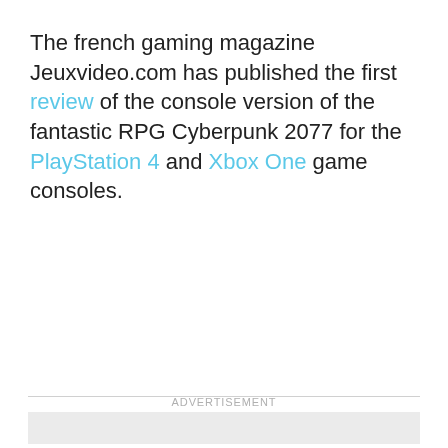The french gaming magazine Jeuxvideo.com has published the first review of the console version of the fantastic RPG Cyberpunk 2077 for the PlayStation 4 and Xbox One game consoles.
ADVERTISEMENT
[Figure (other): Advertisement placeholder box, light gray background]